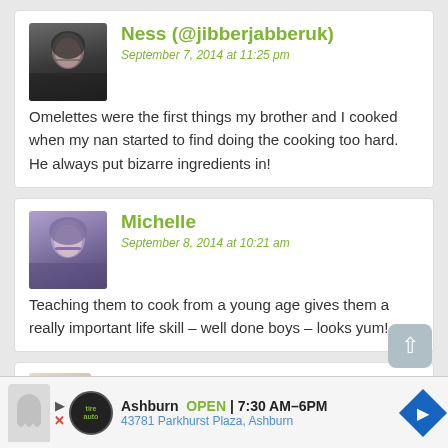[Figure (photo): Avatar photo of Ness, woman with dark hair and glasses]
Ness (@jibberjabberuk)
September 7, 2014 at 11:25 pm
Omelettes were the first things my brother and I cooked when my nan started to find doing the cooking too hard. He always put bizarre ingredients in!
[Figure (photo): Avatar photo of Michelle, woman with purple hair and glasses]
Michelle
September 8, 2014 at 10:21 am
Teaching them to cook from a young age gives them a really important life skill – well done boys – looks yum! x
[Figure (photo): Partial avatar for Rachel, third commenter]
Rachel
Ashburn  OPEN | 7:30 AM–6PM
43781 Parkhurst Plaza, Ashburn